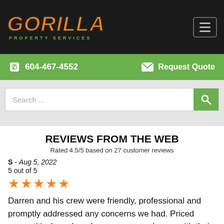GORILLA PROPERTY SERVICES
604-467-4552   Request Quote
Search ...
REVIEWS FROM THE WEB
Rated 4.5/5 based on 27 customer reviews
S - Aug 5, 2022
5 out of 5
★★★★★
Darren and his crew were friendly, professional and promptly addressed any concerns we had. Priced competitively and made sure we were happy with their